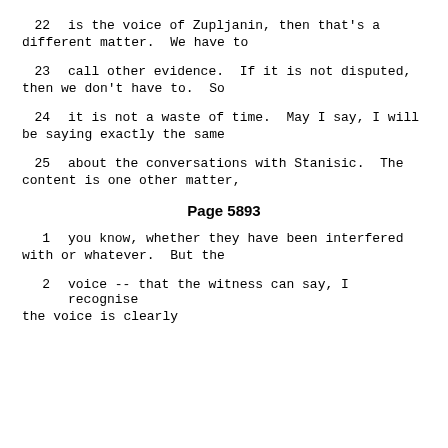22     is the voice of Zupljanin, then that's a different matter.  We have to
23     call other evidence.  If it is not disputed, then we don't have to.  So
24     it is not a waste of time.  May I say, I will be saying exactly the same
25     about the conversations with Stanisic.  The content is one other matter,
Page 5893
1      you know, whether they have been interfered with or whatever.  But the
2      voice -- that the witness can say, I recognise the voice is clearly